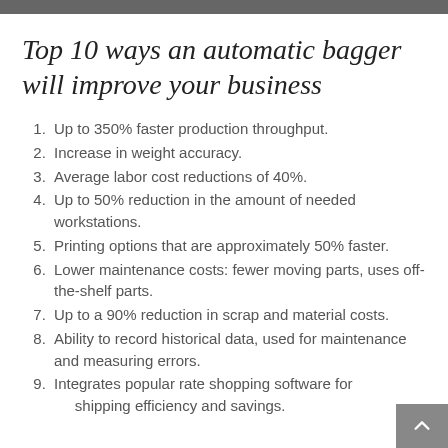Top 10 ways an automatic bagger will improve your business
Up to 350% faster production throughput.
Increase in weight accuracy.
Average labor cost reductions of 40%.
Up to 50% reduction in the amount of needed workstations.
Printing options that are approximately 50% faster.
Lower maintenance costs: fewer moving parts, uses off-the-shelf parts.
Up to a 90% reduction in scrap and material costs.
Ability to record historical data, used for maintenance and measuring errors.
Integrates popular rate shopping software for shipping efficiency and savings.